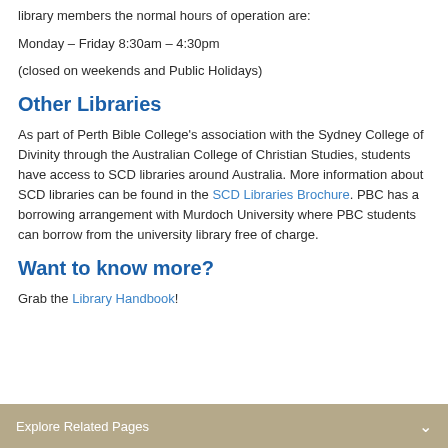library members the normal hours of operation are:
Monday – Friday 8:30am – 4:30pm
(closed on weekends and Public Holidays)
Other Libraries
As part of Perth Bible College's association with the Sydney College of Divinity through the Australian College of Christian Studies, students have access to SCD libraries around Australia. More information about SCD libraries can be found in the SCD Libraries Brochure. PBC has a borrowing arrangement with Murdoch University where PBC students can borrow from the university library free of charge.
Want to know more?
Grab the Library Handbook!
Explore Related Pages